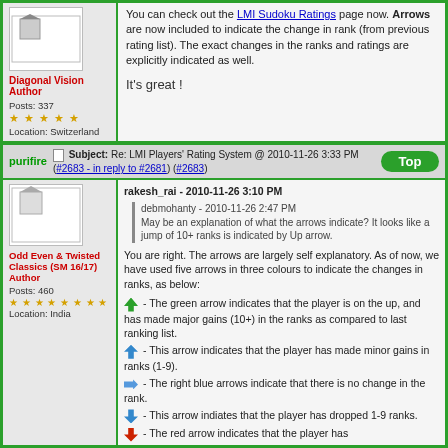You can check out the LMI Sudoku Ratings page now. Arrows are now included to indicate the change in rank (from previous rating list). The exact changes in the ranks and ratings are explicitly indicated as well.
It's great !
Diagonal Vision Author
Posts: 337
Location: Switzerland
purifire
Subject: Re: LMI Players' Rating System @ 2010-11-26 3:33 PM (#2683 - in reply to #2681) (#2683)
Odd Even & Twisted Classics (SM 16/17) Author
Posts: 460
Location: India
rakesh_rai - 2010-11-26 3:10 PM
debmohanty - 2010-11-26 2:47 PM
May be an explanation of what the arrows indicate? It looks like a jump of 10+ ranks is indicated by Up arrow.
You are right. The arrows are largely self explanatory. As of now, we have used five arrows in three colours to indicate the changes in ranks, as below:
- The green arrow indicates that the player is on the up, and has made major gains (10+) in the ranks as compared to last ranking list.
- This arrow indicates that the player has made minor gains in ranks (1-9).
- The right blue arrows indicate that there is no change in the rank.
- This arrow indiates that the player has dropped 1-9 ranks.
- The red arrow indicates that the player has